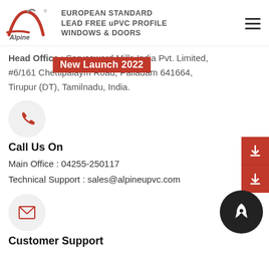[Figure (logo): Alpine logo with stylized red A swoosh and company tagline: EUROPEAN STANDARD LEAD FREE uPVC PROFILE WINDOWS & DOORS]
Head Office : Sarvesward Mills India Pvt. Limited, #6/161 Chettipalaym Road, Palladam 641664, Tirupur (DT), Tamilnadu, India.
New Launch 2022
[Figure (illustration): Phone icon in a light gray circle]
Call Us On
Main Office : 04255-250117
Technical Support : sales@alpineupvc.com
[Figure (illustration): Email/envelope icon in a light gray circle]
Customer Support